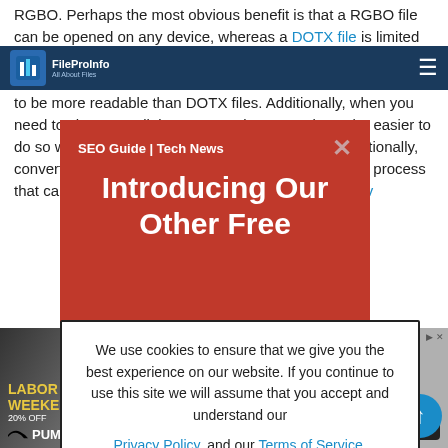FileProInfo — All About Files | SEO Guide | Tech News
RGBO. Perhaps the most obvious benefit is that a RGBO file can be opened on any device, whereas a DOTX file is limited to devices that support the DOTX format. Converting a DOTX to RGBO file also makes it easier to read, as RGBO files tend to be more readable than DOTX files. Additionally, when you need to share or collaborate on a document, it can be easier to do so with a RGBO format than in DOTX format. Additionally, converting an DOTX file to RGBO is a straightforward process that can be done on any device. DOTX to RGBO conv
[Figure (infographic): Red promotional banner overlay reading 'SEO Guide | Tech News — Introducing Our Other Free' with a close X button]
[Figure (infographic): Cookie consent modal: 'We use cookies to ensure that we give you the best experience on our website. If you continue to use this site we will assume that you accept and understand our Privacy Policy, and our Terms of Service.' with I Agree button]
[Figure (photo): Puma Labor Weekend advertisement banner at the bottom of the page with a Shop Now button]